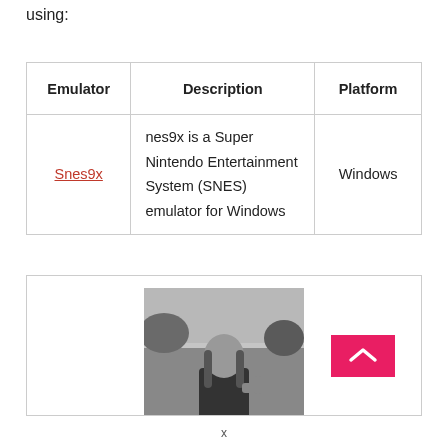using:
| Emulator | Description | Platform |
| --- | --- | --- |
| Snes9x | nes9x is a Super Nintendo Entertainment System (SNES) emulator for Windows | Windows |
[Figure (photo): Black and white photograph of a person with long hair, centered in a bordered box. A pink/red button with a chevron icon is visible in the bottom-right corner of the box.]